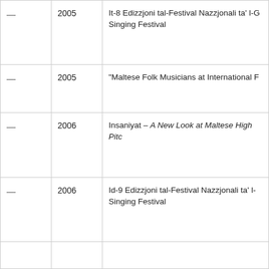|  |  |  |
| --- | --- | --- |
| — | 2005 | It-8 Edizzjoni tal-Festival Nazzjonali ta' l-G... Singing Festival |
| — | 2005 | "Maltese Folk Musicians at International F..." |
| — | 2006 | Insaniyat – A New Look at Maltese High Pitc... |
| — | 2006 | Id-9 Edizzjoni tal-Festival Nazzjonali ta' l-... Singing Festival |